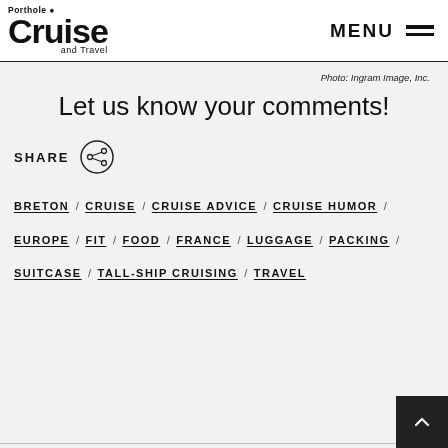Porthole Cruise and Travel — MENU
Photo: Ingram Image, Inc.
Let us know your comments!
SHARE
BRETON / CRUISE / CRUISE ADVICE / CRUISE HUMOR / EUROPE / FIT / FOOD / FRANCE / LUGGAGE / PACKING / SUITCASE / TALL-SHIP CRUISING / TRAVEL